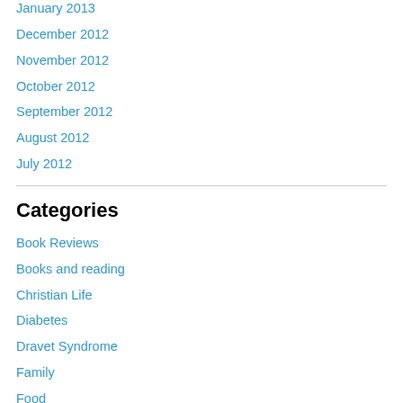January 2013
December 2012
November 2012
October 2012
September 2012
August 2012
July 2012
Categories
Book Reviews
Books and reading
Christian Life
Diabetes
Dravet Syndrome
Family
Food
Life's Travails- Big and Small
Men and Women
Music